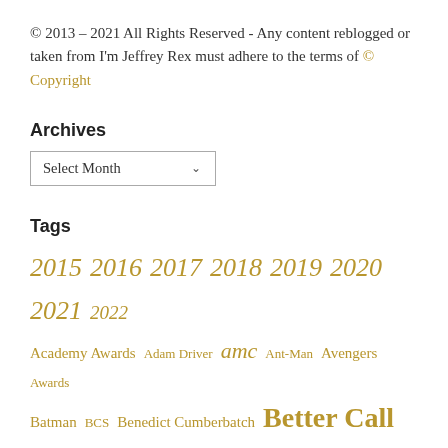© 2013 – 2021 All Rights Reserved - Any content reblogged or taken from I'm Jeffrey Rex must adhere to the terms of © Copyright
Archives
Select Month
Tags
2015 2016 2017 2018 2019 2020 2021 2022 Academy Awards Adam Driver amc Ant-Man Avengers Awards Batman BCS Benedict Cumberbatch Better Call Saul Black Panther Bob Odenkirk BOP Box Office Box Office Predictions Breaking Bad Captain America Chuck McGill Comedy Dagobah Day